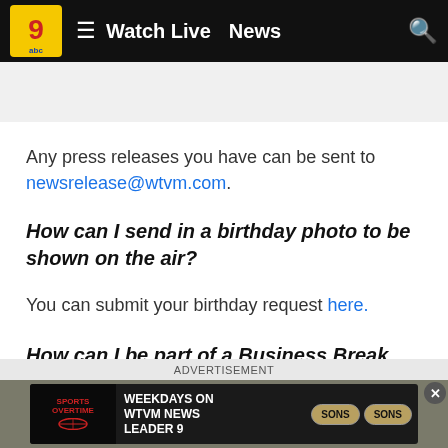Watch Live  News
Any press releases you have can be sent to newsrelease@wtvm.com.
How can I send in a birthday photo to be shown on the air?
You can submit your birthday request here.
How can I be part of a Business Break segment?
ADVERTISEMENT
[Figure (screenshot): Advertisement banner: WEEKDAYS ON WTVM NEWS LEADER 9 with Sports Overtime and SONS logos]